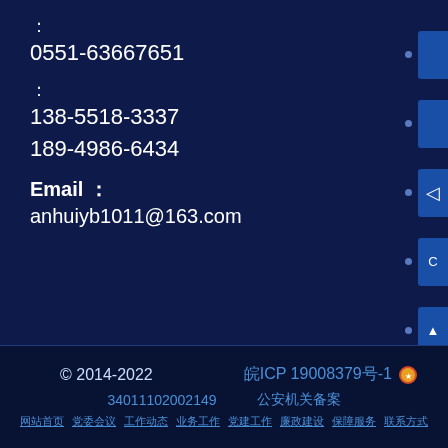：
0551-63667651
：
138-5518-3337
189-4986-6434
Email ：
anhuiyb1011@163.com
© 2014-2022   皖ICP 19008379号-1   34011102002149   公安机关备案号   联系方式 网站地图 ...